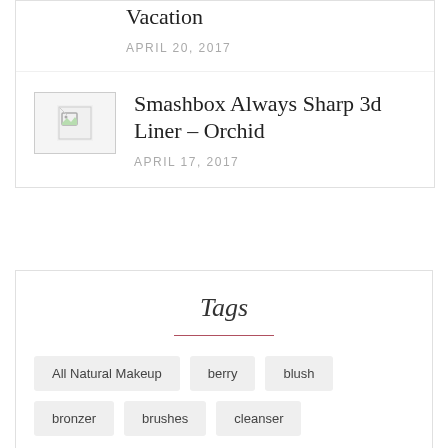Vacation
APRIL 20, 2017
[Figure (photo): Thumbnail image placeholder with broken image icon]
Smashbox Always Sharp 3d Liner – Orchid
APRIL 17, 2017
Tags
All Natural Makeup
berry
blush
bronzer
brushes
cleanser